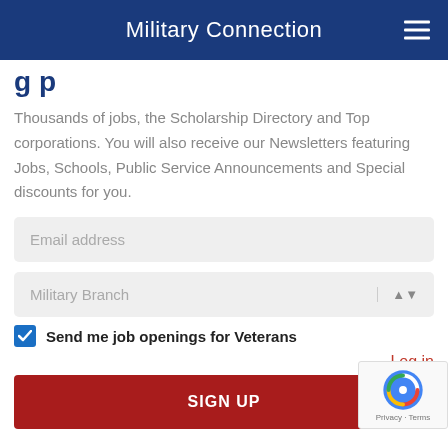Military Connection
g p
Thousands of jobs, the Scholarship Directory and Top corporations. You will also receive our Newsletters featuring Jobs, Schools, Public Service Announcements and Special discounts for you.
Email address
Military Branch
Send me job openings for Veterans
Log in
SIGN UP